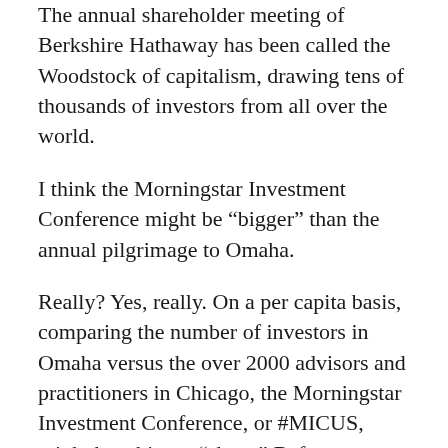The annual shareholder meeting of Berkshire Hathaway has been called the Woodstock of capitalism, drawing tens of thousands of investors from all over the world.
I think the Morningstar Investment Conference might be “bigger” than the annual pilgrimage to Omaha.
Really? Yes, really. On a per capita basis, comparing the number of investors in Omaha versus the over 2000 advisors and practitioners in Chicago, the Morningstar Investment Conference, or #MICUS, might be a bigger “show.” Before you scoff, consider the population of registered advisors and representatives vs. how many attend.